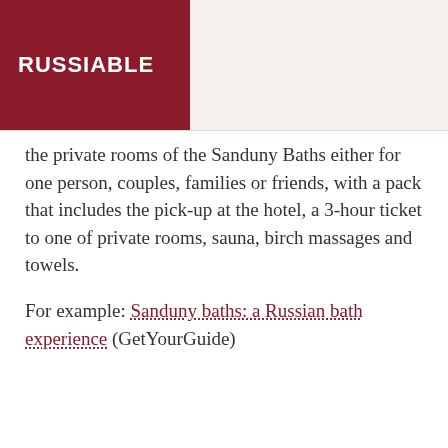RUSSIABLE    ≡ MENU
the private rooms of the Sanduny Baths either for one person, couples, families or friends, with a pack that includes the pick-up at the hotel, a 3-hour ticket to one of private rooms, sauna, birch massages and towels.
For example: Sanduny baths: a Russian bath experience (GetYourGuide)